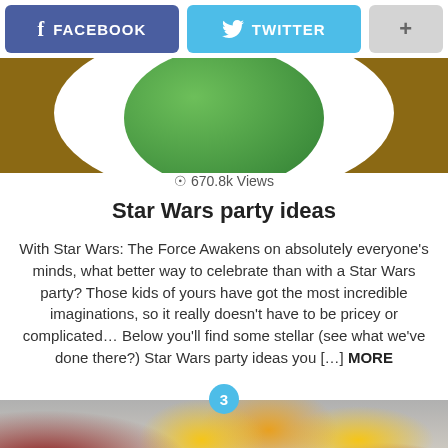f FACEBOOK  🐦 TWITTER  +
[Figure (photo): Close-up photo of a green fondant ball or wrapped item on a white plate, viewed from above, with a wooden table background visible at edges.]
© 670.8k Views
Star Wars party ideas
With Star Wars: The Force Awakens on absolutely everyone's minds, what better way to celebrate than with a Star Wars party? Those kids of yours have got the most incredible imaginations, so it really doesn't have to be pricey or complicated… Below you'll find some stellar (see what we've done there?) Star Wars party ideas you [...] MORE
[Figure (photo): Overhead view of a party food table covered with a white tablecloth, featuring plates of fruit (cherries, plums, grapes), cupcakes, scones, meats, and decorative flowers arranged for a tea party or celebration.]